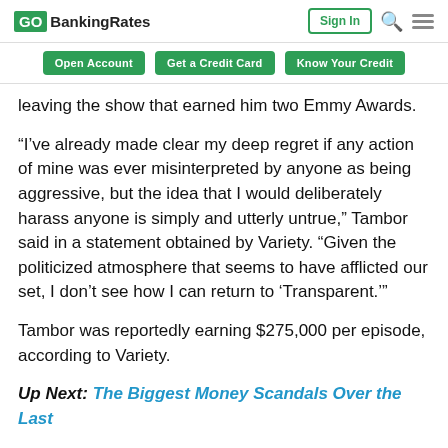GOBankingRates | Sign In
Open Account | Get a Credit Card | Know Your Credit
leaving the show that earned him two Emmy Awards.
“I’ve already made clear my deep regret if any action of mine was ever misinterpreted by anyone as being aggressive, but the idea that I would deliberately harass anyone is simply and utterly untrue,” Tambor said in a statement obtained by Variety. “Given the politicized atmosphere that seems to have afflicted our set, I don’t see how I can return to ‘Transparent.’”
Tambor was reportedly earning $275,000 per episode, according to Variety.
Up Next: The Biggest Money Scandals Over the Last